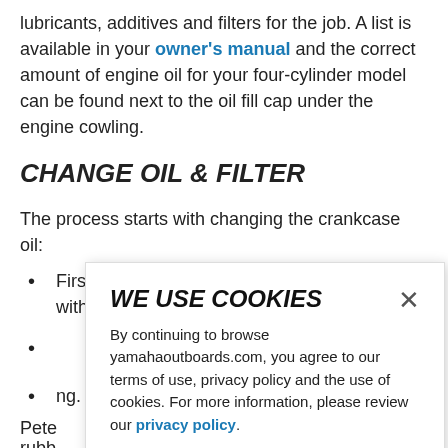lubricants, additives and filters for the job. A list is available in your owner's manual and the correct amount of engine oil for your four-cylinder model can be found next to the oil fill cap under the engine cowling.
CHANGE OIL & FILTER
The process starts with changing the crankcase oil:
First, place an oil pan under the lower unit and with the
(partial, obscured by cookie popup)
(partial, obscured by cookie popup) ng.
WE USE COOKIES

By continuing to browse yamahaoutboards.com, you agree to our terms of use, privacy policy and the use of cookies. For more information, please review our privacy policy.